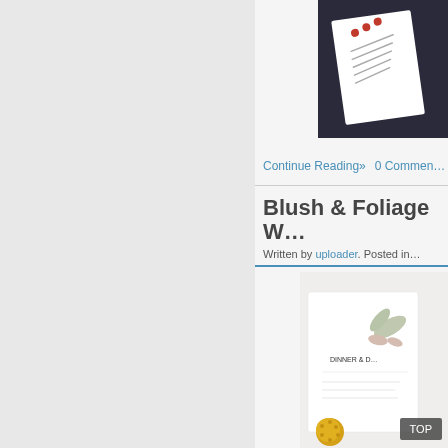[Figure (photo): Dark background with a white card featuring red circular decorations and text lines — stationery/invitation design]
Continue Reading»   0 Commer…
Blush & Foliage W…
Written by uploader. Posted in…
[Figure (photo): White wedding stationery card with foliage/botanical illustration and pink accents, beside yellow pom-pom flowers]
TOP